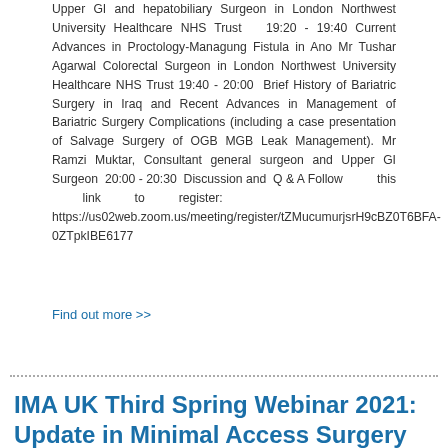Upper GI and hepatobiliary Surgeon in London Northwest University Healthcare NHS Trust  19:20 - 19:40 Current Advances in Proctology-Managung Fistula in Ano Mr Tushar Agarwal Colorectal Surgeon in London Northwest University Healthcare NHS Trust 19:40 - 20:00  Brief History of Bariatric Surgery in Iraq and Recent Advances in Management of Bariatric Surgery Complications (including a case presentation of Salvage Surgery of OGB MGB Leak Management). Mr Ramzi Muktar, Consultant general surgeon and Upper GI Surgeon  20:00 - 20:30  Discussion and  Q & A Follow this link to register: https://us02web.zoom.us/meeting/register/tZMucumurjsrH9cBZ0T6BFA-0ZTpkIBE6177
Find out more >>
IMA UK Third Spring Webinar 2021: Update in Minimal Access Surgery
[Figure (other): Banner image showing THE IRAQI MEDICAL ASSOCIATION UK, THE IRAQI MEDICAL UNION UK & Europe, and Arabic text for the annual scientific conference of the Iraqi Medical Association and the Union of Physicians]